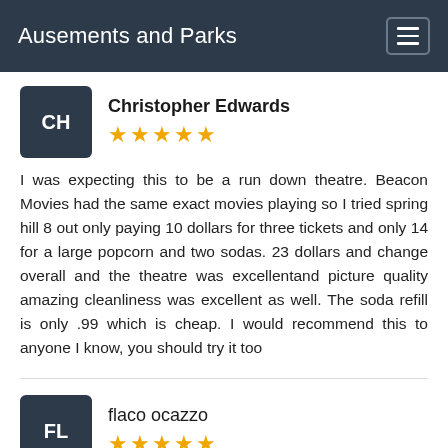Ausements and Parks
Christopher Edwards ★★★★★
I was expecting this to be a run down theatre. Beacon Movies had the same exact movies playing so I tried spring hill 8 out only paying 10 dollars for three tickets and only 14 for a large popcorn and two sodas. 23 dollars and change overall and the theatre was excellentand picture quality amazing cleanliness was excellent as well. The soda refill is only .99 which is cheap. I would recommend this to anyone I know, you should try it too
flaco ocazzo ★★★★★
Great movie theater. Spring Hills hidden treasure. Great